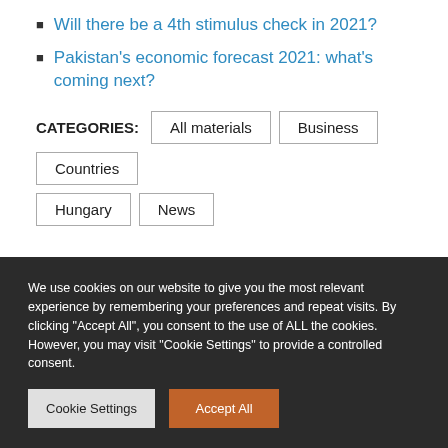Will there be a 4th stimulus check in 2021?
Pakistan's economic forecast 2021: what's coming next?
CATEGORIES: All materials  Business  Countries  Hungary  News
Partner News
We use cookies on our website to give you the most relevant experience by remembering your preferences and repeat visits. By clicking "Accept All", you consent to the use of ALL the cookies. However, you may visit "Cookie Settings" to provide a controlled consent.
Cookie Settings  Accept All